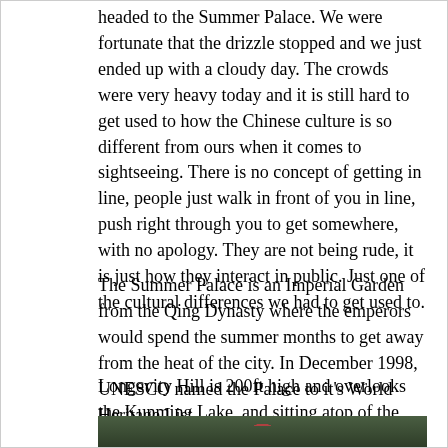headed to the Summer Palace. We were fortunate that the drizzle stopped and we just ended up with a cloudy day. The crowds were very heavy today and it is still hard to get used to how the Chinese culture is so different from ours when it comes to sightseeing. There is no concept of getting in line, people just walk in front of you in line, push right through you to get somewhere, with no apology. They are not being rude, it is just how they interact in public. Just one of the cultural differences we had to get used to.
The Summer Palace is an Imperial Garden from the Qing Dynasty where the emperors would spend the summer months to get away from the heat of the city. In December 1998, UNESCO named the Palace to it's World Heritage List.
Longevity Hill is 200ft high and overlooks the Kunming Lake, and sitting atop of the hill is the Tower of Buddhist Incense.
[Figure (photo): Photograph of treetops with dense green foliage, a red structure partially visible among the trees, taken at the Summer Palace area.]